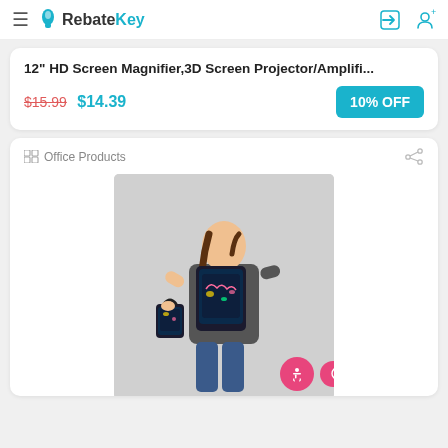RebateKey
12" HD Screen Magnifier,3D Screen Projector/Amplifi...
$15.99 $14.39 10% OFF
Office Products
[Figure (photo): Child wearing a dark backpack with colorful dinosaur pattern and holding a matching small bag/lunchbox]